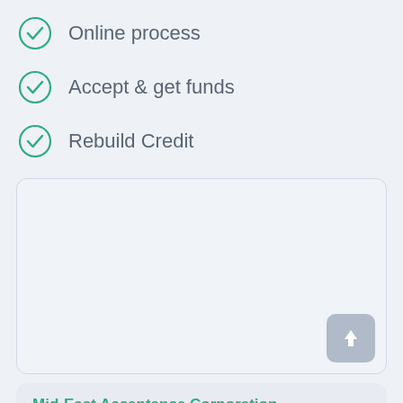Online process
Accept & get funds
Rebuild Credit
[Figure (other): Upload document card area with an upload arrow button in the bottom-right corner]
Mid-East Acceptance Corporation
Rating: 0.0
Details: Loan agency